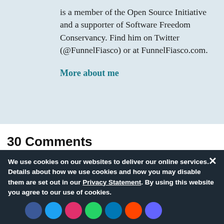is a member of the Open Source Initiative and a supporter of Software Freedom Conservancy. Find him on Twitter (@FunnelFiasco) or at FunnelFiasco.com.
More about me
30 Comments
These comments are closed, however you can Register and login to post a comment or submit information for an alternative.
We use cookies on our websites to deliver our online services. Details about how we use cookies and how you may disable them are set out in our Privacy Statement. By using this website you agree to our use of cookies.